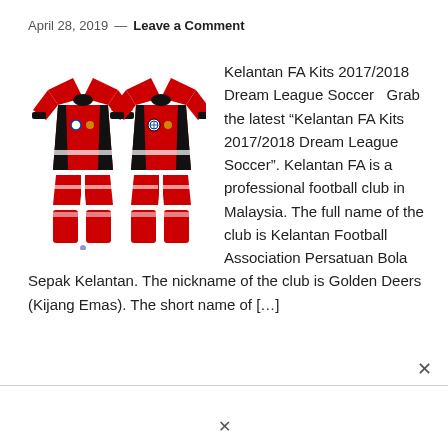April 28, 2019 — Leave a Comment
[Figure (illustration): Kelantan FA Dream League Soccer kit layout showing red jerseys, shorts and socks spread flat, with BMW logo and small badges visible]
Kelantan FA Kits 2017/2018 Dream League Soccer  Grab the latest "Kelantan FA Kits 2017/2018 Dream League Soccer". Kelantan FA is a professional football club in Malaysia. The full name of the club is Kelantan Football Association Persatuan Bola Sepak Kelantan. The nickname of the club is Golden Deers (Kijang Emas). The short name of […]